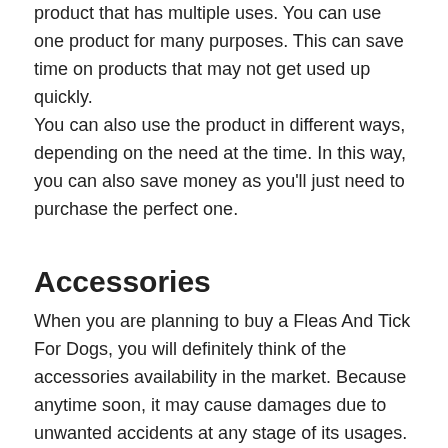product that has multiple uses. You can use one product for many purposes. This can save time on products that may not get used up quickly.
You can also use the product in different ways, depending on the need at the time. In this way, you can also save money as you'll just need to purchase the perfect one.
Accessories
When you are planning to buy a Fleas And Tick For Dogs, you will definitely think of the accessories availability in the market. Because anytime soon, it may cause damages due to unwanted accidents at any stage of its usages.